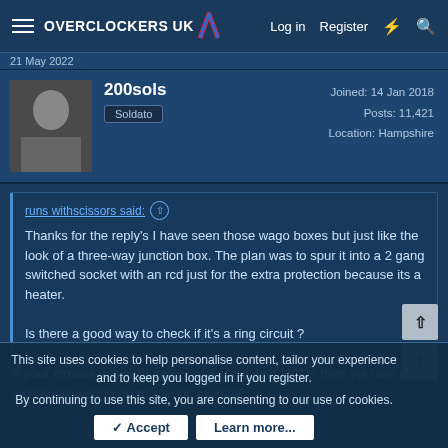OVERCLOCKERS UK — Log in  Register
21 May 2022
200sols
Soldato
Joined: 14 Jan 2018
Posts: 11,421
Location: Hampshire
runs withscissors said:
Thanks for the reply's I have seen those wago boxes but just like the look of a three-way junction box. The plan was to spur it into a 2 gang switched socket with an rcd just for the extra protection because its a heater.

Is there a good way to check if it's a ring circuit ?
If your circuits are not already protected with RCDs then you are not legally allowed to do this work yourself.
This site uses cookies to help personalise content, tailor your experience and to keep you logged in if you register.
By continuing to use this site, you are consenting to our use of cookies.